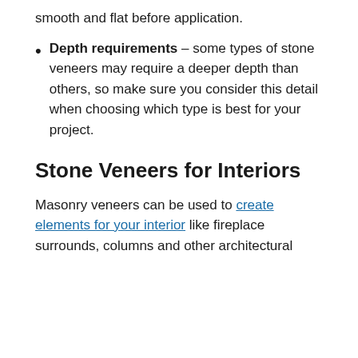smooth and flat before application.
Depth requirements – some types of stone veneers may require a deeper depth than others, so make sure you consider this detail when choosing which type is best for your project.
Stone Veneers for Interiors
Masonry veneers can be used to create elements for your interior like fireplace surrounds, columns and other architectural